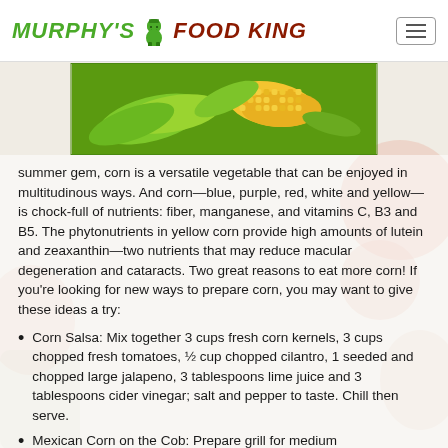MURPHY'S FOOD KING
[Figure (photo): Close-up photo of fresh ears of corn on the cob with husks, showing yellow corn kernels]
summer gem, corn is a versatile vegetable that can be enjoyed in multitudinous ways. And corn—blue, purple, red, white and yellow—is chock-full of nutrients: fiber, manganese, and vitamins C, B3 and B5. The phytonutrients in yellow corn provide high amounts of lutein and zeaxanthin—two nutrients that may reduce macular degeneration and cataracts. Two great reasons to eat more corn! If you're looking for new ways to prepare corn, you may want to give these ideas a try:
Corn Salsa: Mix together 3 cups fresh corn kernels, 3 cups chopped fresh tomatoes, ½ cup chopped cilantro, 1 seeded and chopped large jalapeno, 3 tablespoons lime juice and 3 tablespoons cider vinegar; salt and pepper to taste. Chill then serve.
Mexican Corn on the Cob: Prepare grill for medium